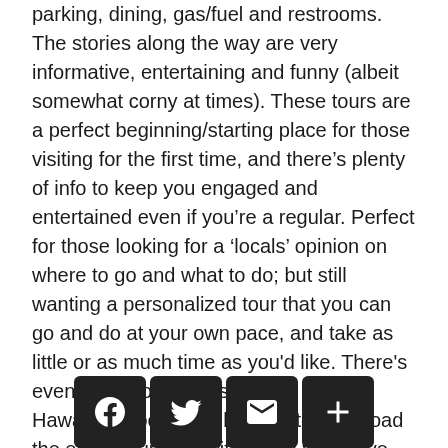minutes or even hours spent looking in vain for parking, dining, gas/fuel and restrooms. The stories along the way are very informative, entertaining and funny (albeit somewhat corny at times). These tours are a perfect beginning/starting place for those visiting for the first time, and there's plenty of info to keep you engaged and entertained even if you're a regular. Perfect for those looking for a 'locals' opinion on where to go and what to do; but still wanting a personalized tour that you can go and do at your own pace, and take as little or as much time as you'd like. There's even background music to set the Hawaiian mood. Just be sure to download the entire tour over wifi before you leave the hotel. And bring a car charger, and an audio cable to plug into the stereo. But [most importantly] remember to have fun!"
[Figure (other): Social sharing bar with Facebook, Twitter, Email, and More (+) buttons]